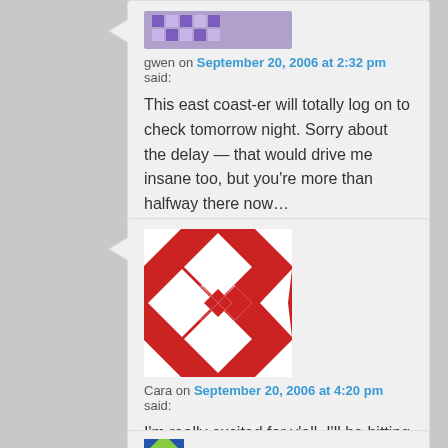[Figure (illustration): Purple pixel/avatar icon for user gwen, partially visible at top]
gwen on September 20, 2006 at 2:32 pm said:
This east coast-er will totally log on to check tomorrow night. Sorry about the delay — that would drive me insane too, but you're more than halfway there now…
[Figure (illustration): Red and white geometric quilt-pattern avatar for user Cara]
Cara on September 20, 2006 at 4:20 pm said:
I'm really excited for y'all. I'll be hitting refresh starting at 4:59. 🙂
[Figure (illustration): Green avatar icon partially visible at bottom]